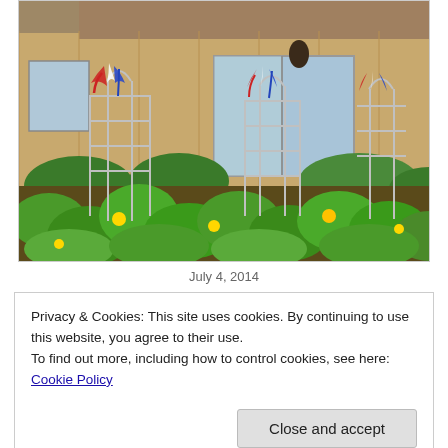[Figure (photo): Outdoor vegetable garden with large squash or pumpkin plants with big green leaves and yellow flowers. Several metal tomato cage supports are visible with red, white, and blue patriotic decorations hanging from the tops. A tan/beige house with a sliding glass door and gray roof is visible in the background.]
July 4, 2014
Privacy & Cookies: This site uses cookies. By continuing to use this website, you agree to their use.
To find out more, including how to control cookies, see here: Cookie Policy
Close and accept